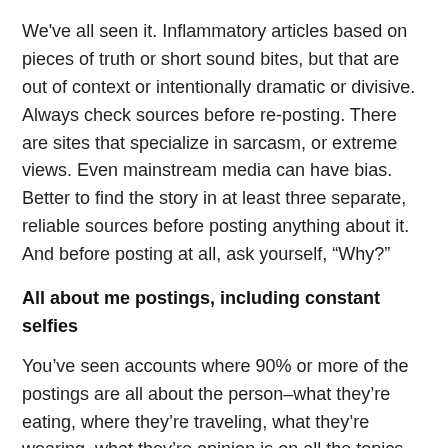We've all seen it. Inflammatory articles based on pieces of truth or short sound bites, but that are out of context or intentionally dramatic or divisive. Always check sources before re-posting. There are sites that specialize in sarcasm, or extreme views. Even mainstream media can have bias. Better to find the story in at least three separate, reliable sources before posting anything about it. And before posting at all, ask yourself, “Why?”
All about me postings, including constant selfies
You’ve seen accounts where 90% or more of the postings are all about the person–what they’re eating, where they’re traveling, what they’re wearing, what they’re opinion is on all the topics. To be fair, Facebook/Instagram pages are a person’s platform…they can do what they want with them and I don’t have to follow. And for some, “personal branding” is part of their profession, so putting themselves in the picture a lot